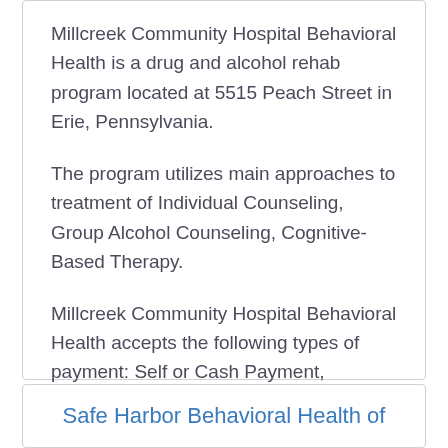Millcreek Community Hospital Behavioral Health is a drug and alcohol rehab program located at 5515 Peach Street in Erie, Pennsylvania.
The program utilizes main approaches to treatment of Individual Counseling, Group Alcohol Counseling, Cognitive-Based Therapy.
Millcreek Community Hospital Behavioral Health accepts the following types of payment: Self or Cash Payment, Medicaid, Medicare Coverage.
Safe Harbor Behavioral Health of